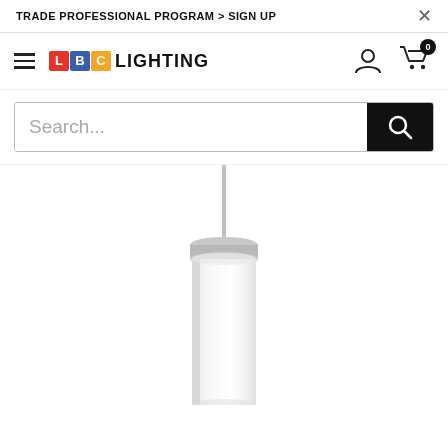TRADE PROFESSIONAL PROGRAM > SIGN UP
[Figure (logo): LBC Lighting logo with colored letter squares (L=red, B=blue, C=orange) followed by text LIGHTING]
Search...
[Figure (photo): A cylindrical pendant light fixture with a brushed nickel/satin metal cap at the top and a white frosted glass cylindrical shade hanging from a thin metal rod/stem against a white background]